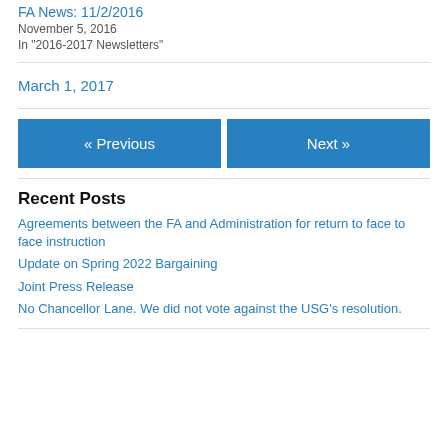FA News: 11/2/2016
November 5, 2016
In "2016-2017 Newsletters"
March 1, 2017
« Previous
Next »
Recent Posts
Agreements between the FA and Administration for return to face to face instruction
Update on Spring 2022 Bargaining
Joint Press Release
No Chancellor Lane. We did not vote against the USG's resolution.